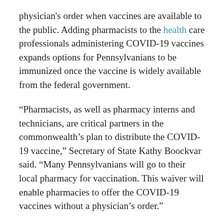physician's order when vaccines are available to the public. Adding pharmacists to the health care professionals administering COVID-19 vaccines expands options for Pennsylvanians to be immunized once the vaccine is widely available from the federal government.
“Pharmacists, as well as pharmacy interns and technicians, are critical partners in the commonwealth’s plan to distribute the COVID-19 vaccine,” Secretary of State Kathy Boockvar said. “Many Pennsylvanians will go to their local pharmacy for vaccination. This waiver will enable pharmacies to offer the COVID-19 vaccines without a physician’s order.”
Pennsylvania pharmacists who meet certain training and other requirements can obtain authorization to administer injectable medications, biologicals and immunizations. If a pharmacist has that authorization, he